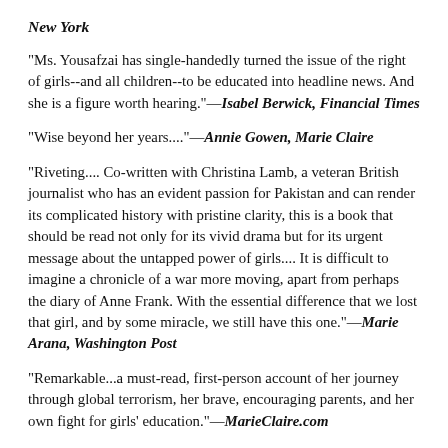New York
"Ms. Yousafzai has single-handedly turned the issue of the right of girls--and all children--to be educated into headline news. And she is a figure worth hearing."—Isabel Berwick, Financial Times
"Wise beyond her years...."—Annie Gowen, Marie Claire
"Riveting.... Co-written with Christina Lamb, a veteran British journalist who has an evident passion for Pakistan and can render its complicated history with pristine clarity, this is a book that should be read not only for its vivid drama but for its urgent message about the untapped power of girls.... It is difficult to imagine a chronicle of a war more moving, apart from perhaps the diary of Anne Frank. With the essential difference that we lost that girl, and by some miracle, we still have this one."—Marie Arana, Washington Post
"Remarkable...a must-read, first-person account of her journey through global terrorism, her brave, encouraging parents, and her own fight for girls' education."—MarieClaire.com
"The story of Malala Yousafzai should be required reading for everyone...